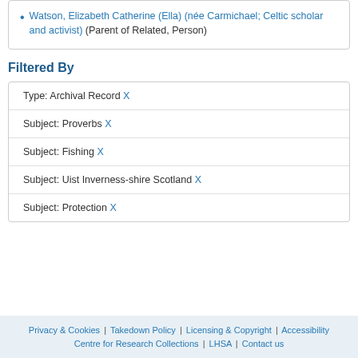Watson, Elizabeth Catherine (Ella) (née Carmichael; Celtic scholar and activist) (Parent of Related, Person)
Filtered By
| Type: Archival Record X |
| Subject: Proverbs X |
| Subject: Fishing X |
| Subject: Uist Inverness-shire Scotland X |
| Subject: Protection X |
Privacy & Cookies | Takedown Policy | Licensing & Copyright | Accessibility | Centre for Research Collections | LHSA | Contact us